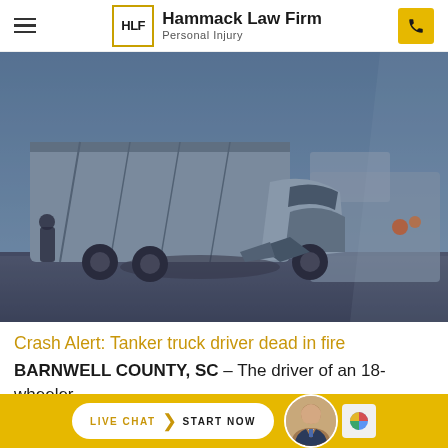Hammack Law Firm — Personal Injury
[Figure (photo): Severely damaged 18-wheeler truck cab after a crash, front end crushed, on a road with other vehicles visible in background]
Crash Alert: Tanker truck driver dead in fire
BARNWELL COUNTY, SC – The driver of an 18-wheeler has died after an accident on Monday morning